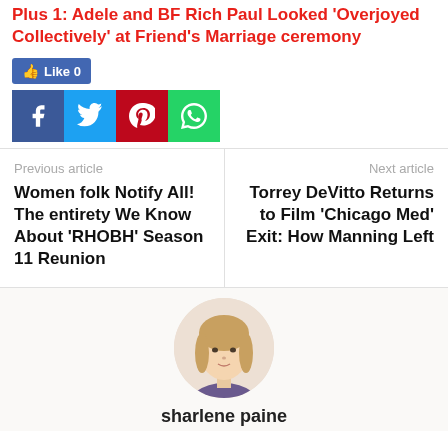Plus 1: Adele and BF Rich Paul Looked 'Overjoyed Collectively' at Friend's Marriage ceremony
[Figure (infographic): Social sharing buttons: Like 0 (Facebook like button in blue), Facebook share (dark blue), Twitter share (light blue), Pinterest share (red), WhatsApp share (green)]
Previous article
Women folk Notify All! The entirety We Know About 'RHOBH' Season 11 Reunion
Next article
Torrey DeVitto Returns to Film 'Chicago Med' Exit: How Manning Left
[Figure (photo): Headshot photo of a blonde woman (sharlene paine) against a light background]
sharlene paine